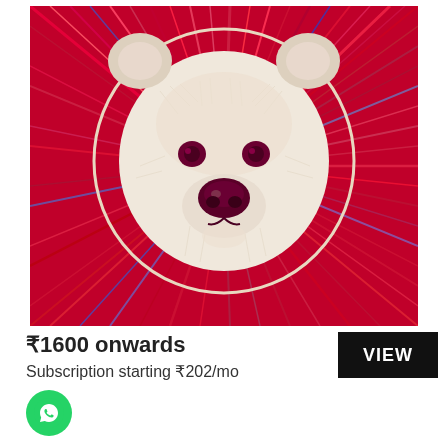[Figure (illustration): Colorful artistic illustration of a polar bear face with vibrant red, pink, and multicolored radiating fur strokes surrounding a cream/white bear face with dark purple eyes and nose]
₹1600 onwards
Subscription starting ₹202/mo
VIEW
[Figure (logo): WhatsApp icon - green circular button with white phone/chat logo]